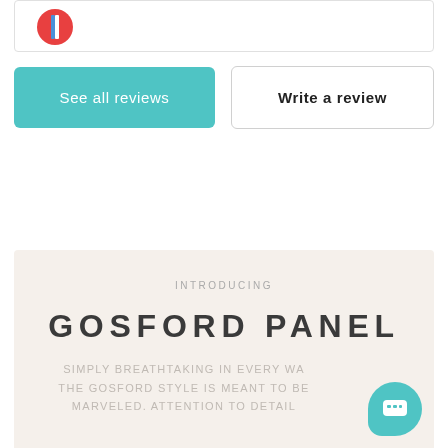[Figure (logo): Circular logo with red background and blue/white ribbon design, partially visible at top of card]
See all reviews
Write a review
INTRODUCING
GOSFORD PANEL
SIMPLY BREATHTAKING IN EVERY WAY THE GOSFORD STYLE IS MEANT TO BE MARVELED. ATTENTION TO DETAIL
[Figure (illustration): Teal chat bubble icon in bottom right corner]